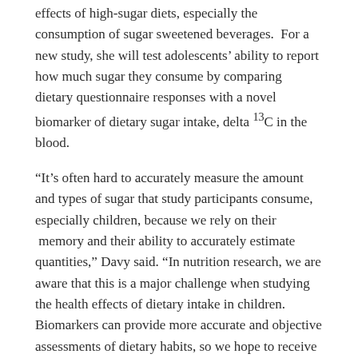effects of high-sugar diets, especially the consumption of sugar sweetened beverages.  For a new study, she will test adolescents' ability to report how much sugar they consume by comparing dietary questionnaire responses with a novel biomarker of dietary sugar intake, delta 13C in the blood.
“It’s often hard to accurately measure the amount and types of sugar that study participants consume, especially children, because we rely on their  memory and their ability to accurately estimate quantities,” Davy said. “In nutrition research, we are aware that this is a major challenge when studying the health effects of dietary intake in children. Biomarkers can provide more accurate and objective assessments of dietary habits, so we hope to receive additional funding from NIH to support this project. Another exciting aspect of this project is that it involves collaboration with a faculty member in Hawaii, Dr. Hope Jahren, who is an expert in geochemistry and geophysics”.
Davy and graduate student Shaun Riebl, a registered dietitian and Ph.D. candidate in the department of human nutrition, foods, and exercise, are looking for 75-100 local participants between the